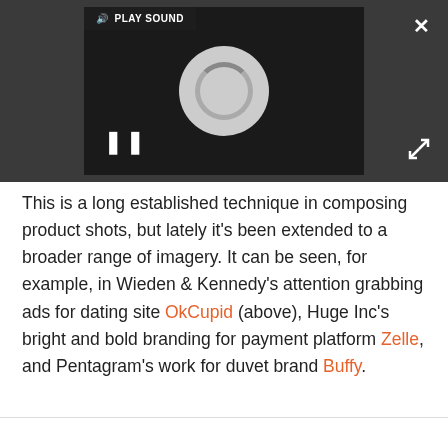[Figure (screenshot): A video player embedded in a dark grey interface bar showing a loading/spinner circle, a pause button (II), a PLAY SOUND button in the top-left corner, a close (X) button in the top-right, and an expand/fullscreen icon in the bottom-right.]
This is a long established technique in composing product shots, but lately it's been extended to a broader range of imagery. It can be seen, for example, in Wieden & Kennedy's attention grabbing ads for dating site OkCupid (above), Huge Inc's bright and bold branding for payment platform Zelle, and Pentagram's work for duvet brand Buffy.